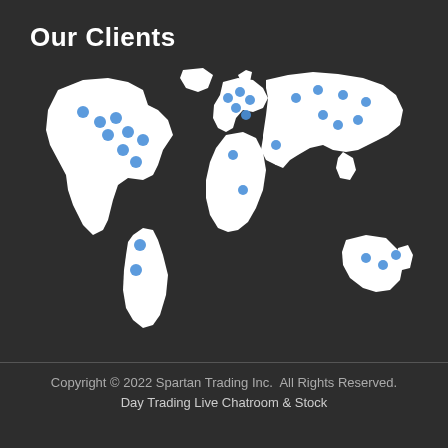Our Clients
[Figure (map): World map in black and white with blue dot markers indicating client locations across North America, South America, Europe, Middle East, Asia, Africa, and Australia.]
Copyright © 2022 Spartan Trading Inc.  All Rights Reserved.

Day Trading Live Chatroom & Stock